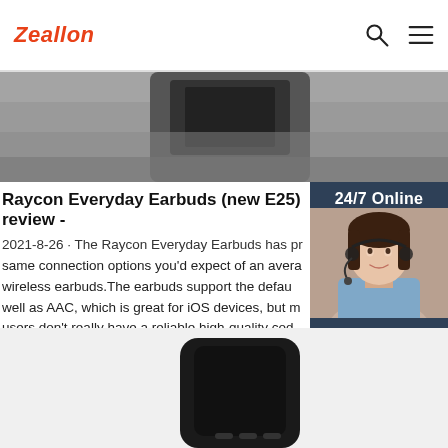Zeallon
[Figure (photo): Hero image showing a smartphone on a wooden/gray surface, partially cropped]
Raycon Everyday Earbuds (new E25) review -
2021-8-26 · The Raycon Everyday Earbuds has pr same connection options you'd expect of an avera wireless earbuds.The earbuds support the defau well as AAC, which is great for iOS devices, but m users don't really have a reliable high-quality cod inconsistently on Android, depending on which d
Get Price
[Figure (photo): 24/7 Online chat panel with a female customer service agent wearing a headset, smiling. Dark blue background. Buttons for free chat and QUOTATION.]
[Figure (photo): Bottom product image showing a black device, partially cropped]